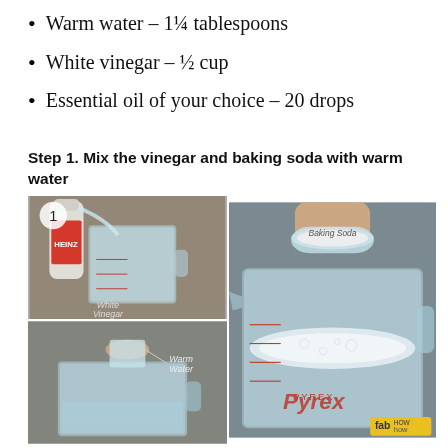Warm water – 1¼ tablespoons
White vinegar – ½ cup
Essential oil of your choice – 20 drops
Step 1. Mix the vinegar and baking soda with warm water
[Figure (photo): Three photos showing step 1: pouring white vinegar into a measuring cup (labeled 'White Vinegar', Heinz bottle visible, step number 1), a hand holding a small measuring cup of warm water over a larger measuring cup, and a hand pouring baking soda into a Pyrex measuring cup with foamy mixture. Labels: 'White Vinegar', 'Warm Water', 'Baking Soda'. FabHow badge visible.]